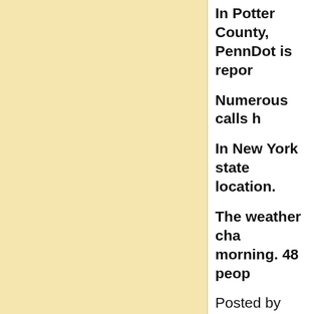In Potter County, PennDot is repo...
Numerous calls h...
In New York state... location.
The weather cha... morning. 48 peop...
Posted by Solomo...
No comments:
Tuesday, February 5...